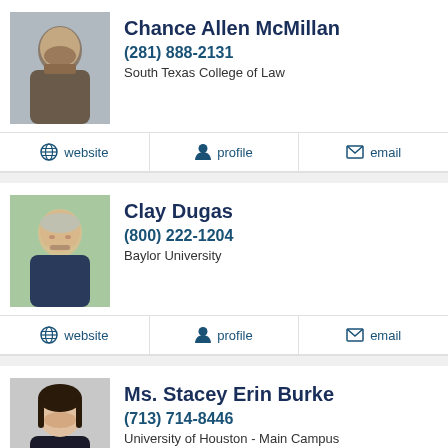[Figure (photo): Headshot of Chance Allen McMillan, a man with dark beard wearing a suit]
Chance Allen McMillan
(281) 888-2131
South Texas College of Law
website   profile   email
[Figure (photo): Headshot of Clay Dugas, an older man in a suit smiling]
Clay Dugas
(800) 222-1204
Baylor University
website   profile   email
[Figure (photo): Headshot of Ms. Stacey Erin Burke, a woman in dark jacket]
Ms. Stacey Erin Burke
(713) 714-8446
University of Houston - Main Campus
website   profile   email